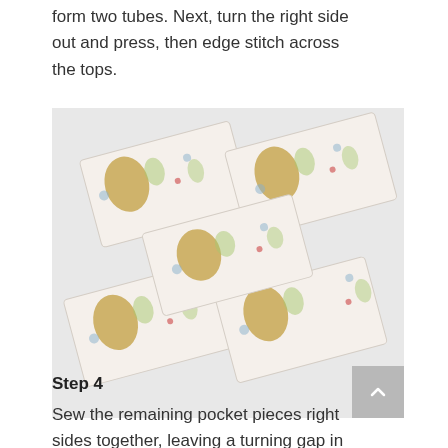together along the top and bottom to form two tubes. Next, turn the right side out and press, then edge stitch across the tops.
[Figure (photo): Photo showing fabric pieces with a rooster/chicken and botanical print pattern arranged diagonally, showing sewing project tube pieces]
Step 4
Sew the remaining pocket pieces right sides together, leaving a turning gap in